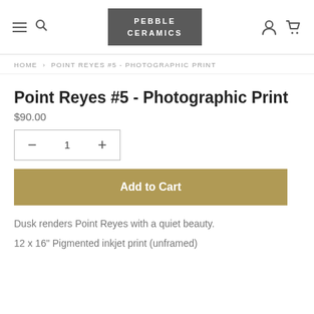PEBBLE CERAMICS
HOME > POINT REYES #5 - PHOTOGRAPHIC PRINT
Point Reyes #5 - Photographic Print
$90.00
Add to Cart
Dusk renders Point Reyes with a quiet beauty.
12 x 16" Pigmented inkjet print (unframed)